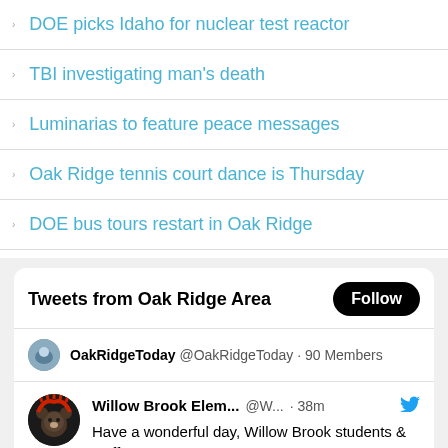DOE picks Idaho for nuclear test reactor
TBI investigating man's death
Luminarias to feature peace messages
Oak Ridge tennis court dance is Thursday
DOE bus tours restart in Oak Ridge
Tweets from Oak Ridge Area
OakRidgeToday @OakRidgeToday · 90 Members
Willow Brook Elem... @W... · 38m — Have a wonderful day, Willow Brook students & staff! ❤